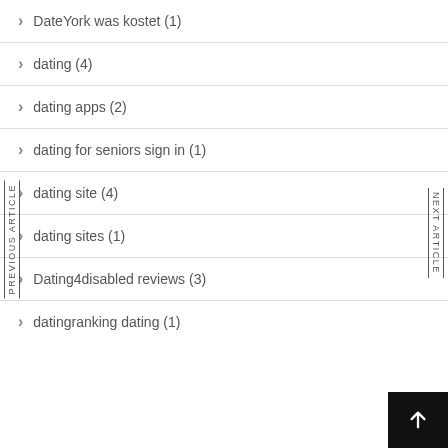DateYork was kostet (1)
dating (4)
dating apps (2)
dating for seniors sign in (1)
dating site (4)
dating sites (1)
Dating4disabled reviews (3)
datingranking dating (1)